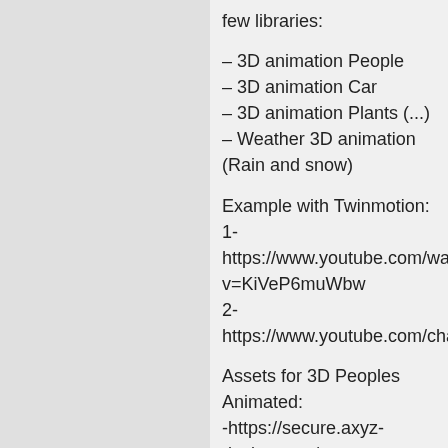few libraries:
– 3D animation People
– 3D animation Car
– 3D animation Plants (...)
– Weather 3D animation (Rain and snow)
Example with Twinmotion:
1-https://www.youtube.com/watch?v=KiVeP6muWbw
2-https://www.youtube.com/channel/UCOjK8
Assets for 3D Peoples Animated:
-https://secure.axyz-design.com/
Assets for 3D Car Animated: